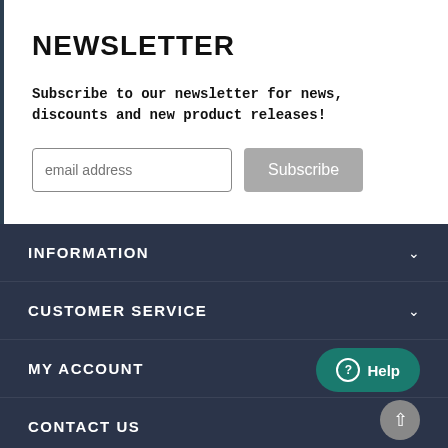NEWSLETTER
Subscribe to our newsletter for news, discounts and new product releases!
INFORMATION
CUSTOMER SERVICE
MY ACCOUNT
CONTACT US